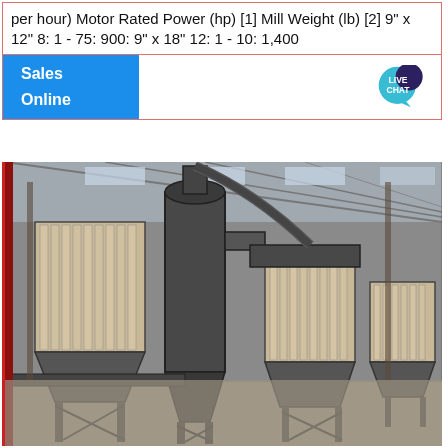per hour) Motor Rated Power (hp) [1] Mill Weight (lb) [2] 9" x 12" 8: 1 - 75: 900: 9" x 18" 12: 1 - 10: 1,400
Sales Online
[Figure (photo): Industrial dust collection equipment inside a warehouse. Multiple large cylindrical bag filter/dust collector units with conical hoppers on steel frames arranged in a row inside a large metal building with skylights.]